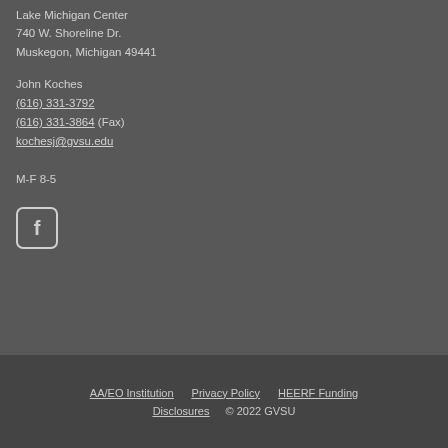Lake Michigan Center
740 W. Shoreline Dr.
Muskegon, Michigan 49441
John Koches
(616) 331-3792
(616) 331-3864 (Fax)
kochesj@gvsu.edu
M-F 8-5
[Figure (logo): Facebook icon in a rounded square border]
AA/EO Institution   Privacy Policy   HEERF Funding
Disclosures   © 2022 GVSU